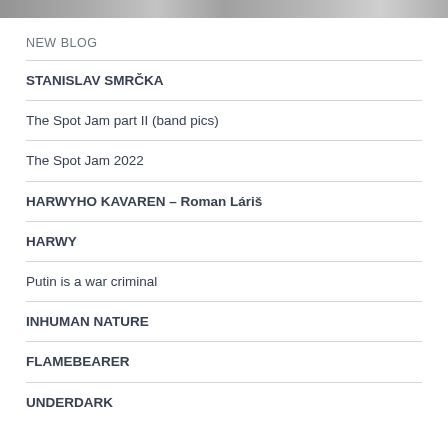[Figure (photo): Partial image strip at top of page showing band/photography images in grayscale]
NEW BLOG
STANISLAV SMRČKA
The Spot Jam part II (band pics)
The Spot Jam 2022
HARWYHO KAVAREN – Roman Láriš
HARWY
Putin is a war criminal
INHUMAN NATURE
FLAMEBEARER
UNDERDARK